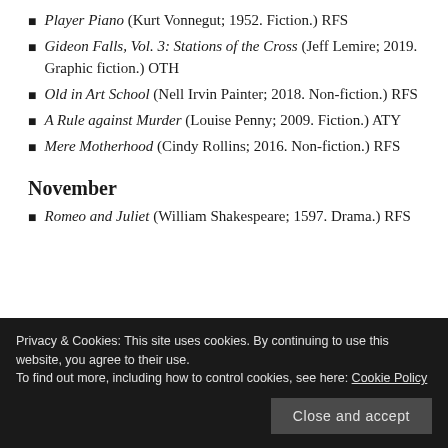Player Piano (Kurt Vonnegut; 1952. Fiction.) RFS
Gideon Falls, Vol. 3: Stations of the Cross (Jeff Lemire; 2019. Graphic fiction.) OTH
Old in Art School (Nell Irvin Painter; 2018. Non-fiction.) RFS
A Rule against Murder (Louise Penny; 2009. Fiction.) ATY
Mere Motherhood (Cindy Rollins; 2016. Non-fiction.) RFS
November
Romeo and Juliet (William Shakespeare; 1597. Drama.) RFS
Privacy & Cookies: This site uses cookies. By continuing to use this website, you agree to their use.
To find out more, including how to control cookies, see here: Cookie Policy
Oedipus the King (Sophocles (Trans. Jan Johnston;...